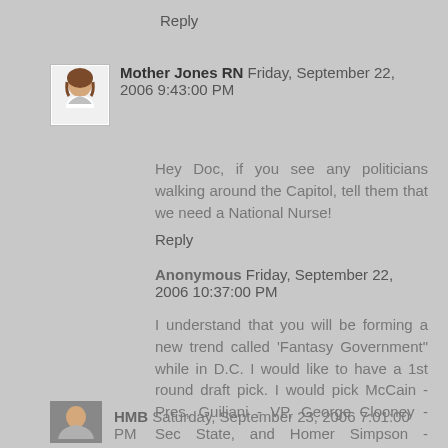Reply
Mother Jones RN  Friday, September 22, 2006 9:43:00 PM
Hey Doc, if you see any politicians walking around the Capitol, tell them that we need a National Nurse!
Reply
Anonymous  Friday, September 22, 2006 10:37:00 PM
I understand that you will be forming a new trend called 'Fantasy Government" while in D.C. I would like to have a 1st round draft pick. I would pick McCain - Pres, Guiliani - VP, George Clooney - Sec State, and Homer Simpson - Surgeon General.
Reply